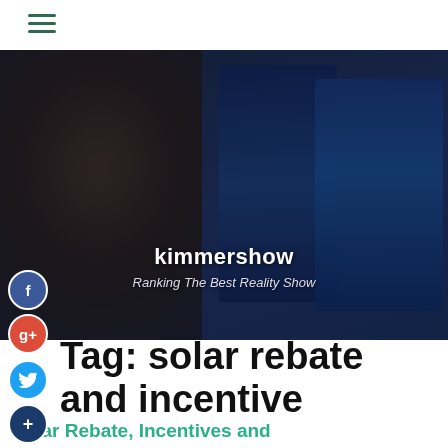kimmershow — Ranking The Best Reality Show (hamburger menu)
[Figure (photo): A person wearing headphones and glasses sitting at a desk editing video on dual monitors in a dark creative workspace. Overlaid text: 'kimmershow' and 'Ranking The Best Reality Show'.]
Tag: solar rebate and incentive
Solar Rebate, Incentives and